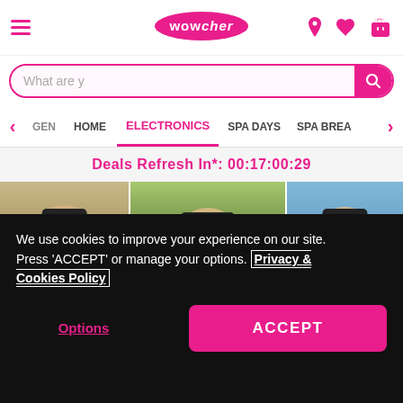Wowcher website header with hamburger menu, logo, and icons (location, heart, cart)
What are y
GEN  HOME  ELECTRONICS  SPA DAYS  SPA BREA
Deals Refresh In*: 00:17:00:29
[Figure (photo): Three garden gnomes styled as mini celebrity rappers. Left gnome shirtless with tattoos, middle gnome in colorful patterned shirt with gold chain, right gnome in blue denim outfit.]
Mini Celeb Rapper Inspired Garden Gnome - 5 Styles!
2019 Bought
SAVE UP TO
We use cookies to improve your experience on our site. Press 'ACCEPT' or manage your options. Privacy & Cookies Policy
Options
ACCEPT